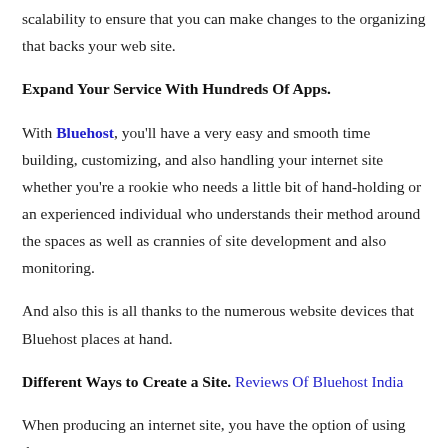and e-mail monitoring features, and also very easy upgrades and scalability to ensure that you can make changes to the organizing that backs your web site.
Expand Your Service With Hundreds Of Apps.
With Bluehost, you'll have a very easy and smooth time building, customizing, and also handling your internet site whether you're a rookie who needs a little bit of hand-holding or an experienced individual who understands their method around the spaces as well as crannies of site development and also monitoring.
And also this is all thanks to the numerous website devices that Bluehost places at hand.
Different Ways to Create a Site. Reviews Of Bluehost India
When producing an internet site, you have the option of using the